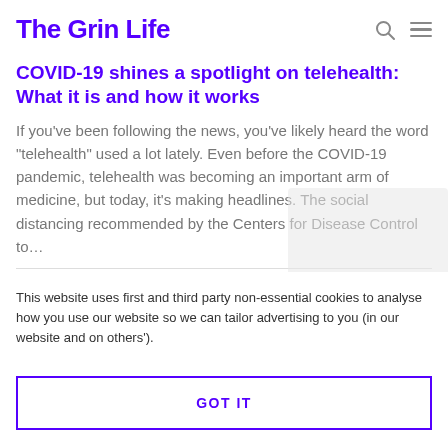The Grin Life
COVID-19 shines a spotlight on telehealth: What it is and how it works
If you’ve been following the news, you’ve likely heard the word “telehealth” used a lot lately. Even before the COVID-19 pandemic, telehealth was becoming an important arm of medicine, but today, it’s making headlines. The social distancing recommended by the Centers for Disease Control to…
This website uses first and third party non-essential cookies to analyse how you use our website so we can tailor advertising to you (in our website and on others’).
GOT IT